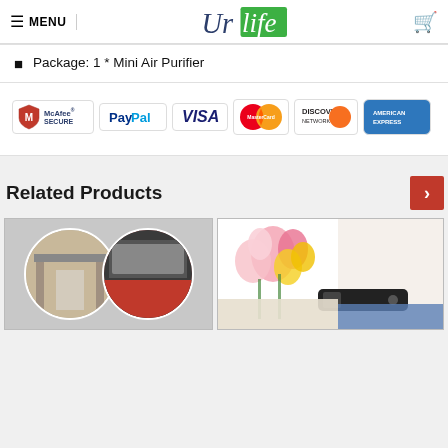MENU | UrLife | [cart icon]
Package: 1 * Mini Air Purifier
[Figure (infographic): Payment security badges: McAfee Secure, PayPal, VISA, MasterCard, Discover Network, American Express]
Related Products
[Figure (photo): Two circular thumbnail photos of related products (bathroom fixtures and kitchen interior), and a rectangular photo showing flowers, a book and a device]